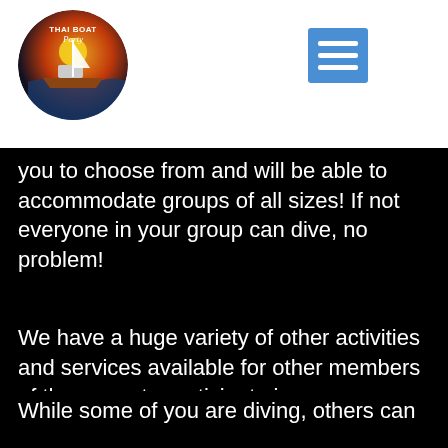[Figure (logo): Thai Boat Party circular logo with boat and sunset graphic]
[Figure (other): Hamburger menu button (three horizontal lines) in blue square]
you to choose from and will be able to accommodate groups of all sizes! If not everyone in your group can dive, no problem!
We have a huge variety of other activities and services available for other members of the group to participate in, so everyone will enjoy their sailing holidays no matter what.
While some of you are diving, others can